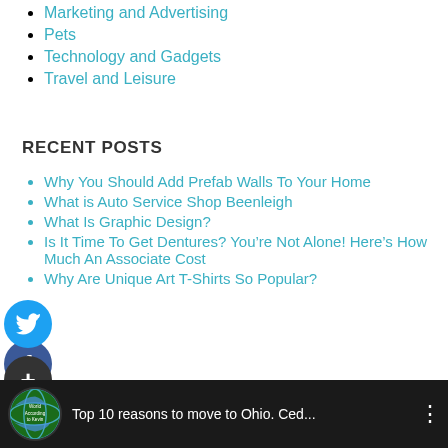Marketing and Advertising
Pets
Technology and Gadgets
Travel and Leisure
RECENT POSTS
Why You Should Add Prefab Walls To Your Home
What is Auto Service Shop Beenleigh
What Is Graphic Design?
Is It Time To Get Dentures? You’re Not Alone! Here’s How Much An Associate Cost
Why Are Unique Art T-Shirts So Popular?
TOP 10 REASONS TO MOVE TO OHIO. CEDAR POINT IS ON THIS AND SO IS THE CLEVELAND CLINIC.
[Figure (screenshot): Video bar showing globe thumbnail and title: Top 10 reasons to move to Ohio. Ced...]